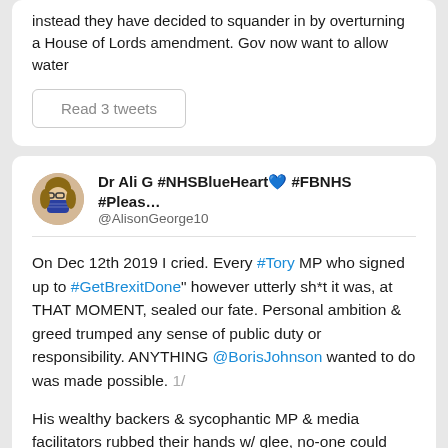instead they have decided to squander in by overturning a House of Lords amendment. Gov now want to allow water
Read 3 tweets
Dr Ali G #NHSBlueHeart💙 #FBNHS #Pleas…
@AlisonGeorge10
On Dec 12th 2019 I cried. Every #Tory MP who signed up to #GetBrexitDone" however utterly sh*t it was, at THAT MOMENT, sealed our fate. Personal ambition & greed trumped any sense of public duty or responsibility. ANYTHING @BorisJohnson wanted to do was made possible. 1/
His wealthy backers & sycophantic MP & media facilitators rubbed their hands w/ glee, no-one could touch him now! A